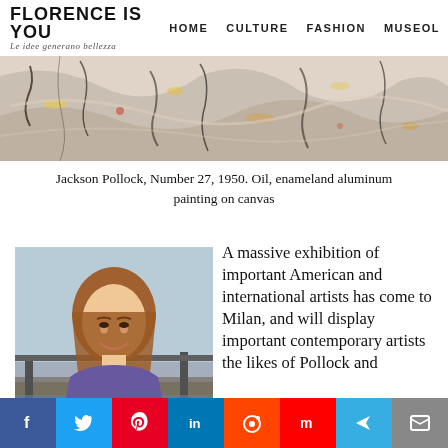FLORENCE IS YOU | HOME | CULTURE | FASHION | MUSEOL
[Figure (photo): Abstract painting — Jackson Pollock, Number 27, 1950. Oil, enamel and aluminum painting on canvas. Wide banner hero image.]
Jackson Pollock, Number 27, 1950. Oil, enameland aluminum painting on canvas
[Figure (photo): Photo of Ellen Miller, a young woman with long brown hair wearing a purple sleeveless top, smiling outdoors with a cityscape in the background.]
A massive exhibition of important American and international artists has come to Milan, and will display important contemporary artists the likes of Pollock and
Ellen Miller
By continuing to use the site, you agree to the use of cookies. more information
ACCEPT